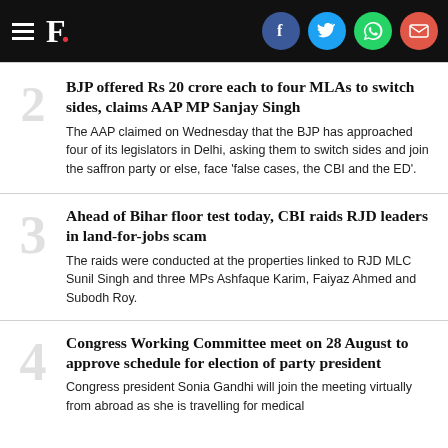F. [logo with social icons: Facebook, Twitter, WhatsApp, Email]
2 BJP offered Rs 20 crore each to four MLAs to switch sides, claims AAP MP Sanjay Singh — The AAP claimed on Wednesday that the BJP has approached four of its legislators in Delhi, asking them to switch sides and join the saffron party or else, face 'false cases, the CBI and the ED'.
3 Ahead of Bihar floor test today, CBI raids RJD leaders in land-for-jobs scam — The raids were conducted at the properties linked to RJD MLC Sunil Singh and three MPs Ashfaque Karim, Faiyaz Ahmed and Subodh Roy.
4 Congress Working Committee meet on 28 August to approve schedule for election of party president — Congress president Sonia Gandhi will join the meeting virtually from abroad as she is travelling for medical